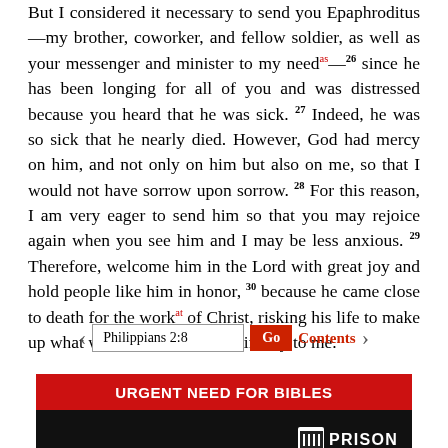But I considered it necessary to send you Epaphroditus—my brother, coworker, and fellow soldier, as well as your messenger and minister to my need[as]—26 since he has been longing for all of you and was distressed because you heard that he was sick. 27 Indeed, he was so sick that he nearly died. However, God had mercy on him, and not only on him but also on me, so that I would not have sorrow upon sorrow. 28 For this reason, I am very eager to send him so that you may rejoice again when you see him and I may be less anxious. 29 Therefore, welcome him in the Lord with great joy and hold people like him in honor, 30 because he came close to death for the work[at] of Christ, risking his life to make up what was lacking in your ministry to me.
Philippians 2:8  Go  Contents
[Figure (infographic): Advertisement banner for 'Urgent Need for Bibles' by Prison Fellowship, showing a person in a winter hat and the Prison Fellowship logo.]